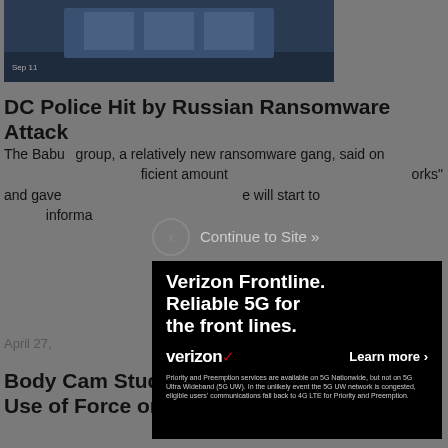[Figure (photo): Dark blue/navy image at top of page, appears to be a building or scene, partially cropped]
DC Police Hit by Russian Ransomware Attack
The Babuk group, a relatively new ransomware gang, said on [obscured] ...fficient amount... ...orks" and gave... ...ve will start to... informa...
[Figure (other): Verizon Frontline advertisement overlay on black background. Text: 'Verizon Frontline. Reliable 5G for the front lines.' Logo: verizon with red checkmark. 'Learn more >' button. Disclaimer text about Priority and Preemption services on 5G Nationwide.]
April 27,
Body Cam Study Shows No Effect on Police Use of Force or Citizen Complaints